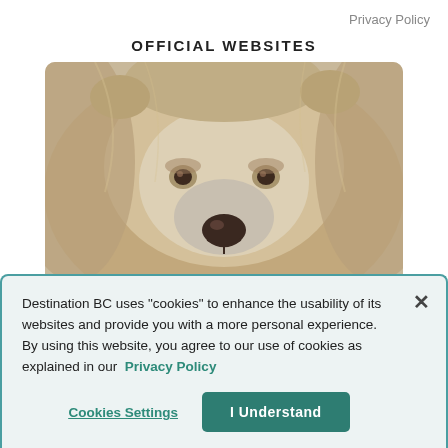Privacy Policy
OFFICIAL WEBSITES
[Figure (photo): Close-up photograph of a light-colored grizzly/brown bear looking directly at the camera, with beige/cream fur]
Destination BC uses "cookies" to enhance the usability of its websites and provide you with a more personal experience. By using this website, you agree to our use of cookies as explained in our Privacy Policy
Cookies Settings
I Understand